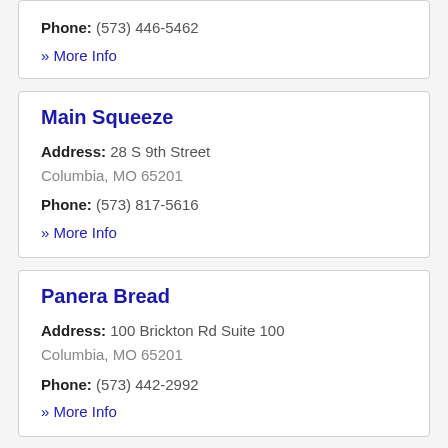Phone: (573) 446-5462
» More Info
Main Squeeze
Address: 28 S 9th Street Columbia, MO 65201
Phone: (573) 817-5616
» More Info
Panera Bread
Address: 100 Brickton Rd Suite 100 Columbia, MO 65201
Phone: (573) 442-2992
» More Info